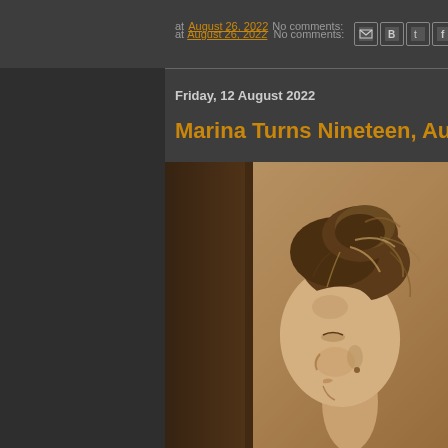at August 26, 2022  No comments:
[Figure (photo): Sepia-toned profile photo of a young woman (Marina) with hair up in a messy bun, looking to the left, in front of a textured beige wall with a dark door frame on the left.]
Friday, 12 August 2022
Marina Turns Nineteen, Aug 12th - 202...